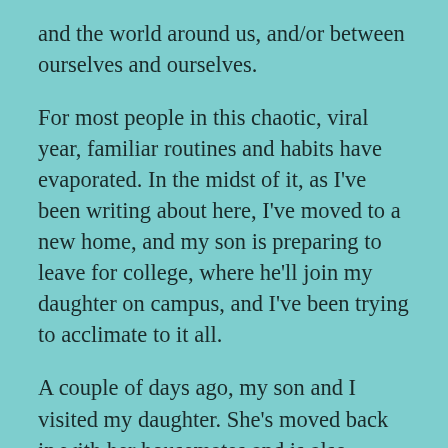and the world around us, and/or between ourselves and ourselves.
For most people in this chaotic, viral year, familiar routines and habits have evaporated. In the midst of it, as I've been writing about here, I've moved to a new home, and my son is preparing to leave for college, where he'll join my daughter on campus, and I've been trying to acclimate to it all.
A couple of days ago, my son and I visited my daughter. She's moved back in with her housemates and is also awaiting the new school year. The three of us walked through